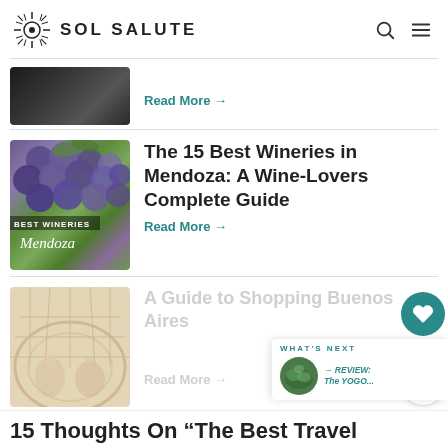SOL SALUTE
[Figure (photo): Dark image of a wine bottle or dark background, partially visible at top]
Read More →
[Figure (photo): Image of blue/purple grapes with text overlay: BEST WINERIES and Mendoza in script]
The 15 Best Wineries in Mendoza: A Wine-Lovers Complete Guide
Read More →
[Figure (photo): Faded image of ornate painted ceiling, architectural interior of Buenos Aires]
A Guide to Shopping Buenos Aires
Read More →
34
WHAT'S NEXT
→ REVIEW: The YOGO...
15 Thoughts On "The Best Travel